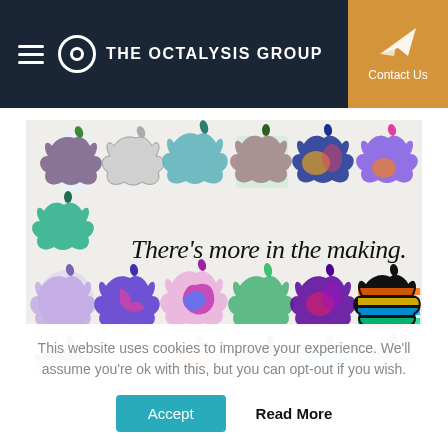THE OCTALYSIS GROUP | Contact Us
[Figure (illustration): Grid of Apple logos in various artistic styles with text 'There's more in the making.' overlaid in the center]
This website uses cookies to improve your experience. We'll assume you're ok with this, but you can opt-out if you wish.
Accept | Read More